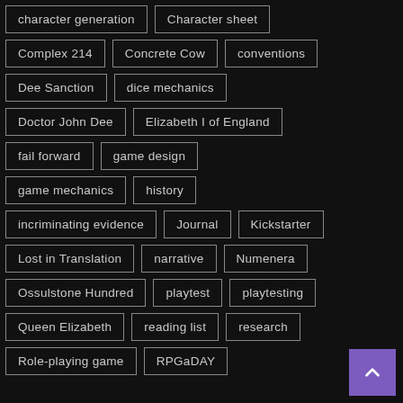character generation
Character sheet
Complex 214
Concrete Cow
conventions
Dee Sanction
dice mechanics
Doctor John Dee
Elizabeth I of England
fail forward
game design
game mechanics
history
incriminating evidence
Journal
Kickstarter
Lost in Translation
narrative
Numenera
Ossulstone Hundred
playtest
playtesting
Queen Elizabeth
reading list
research
Role-playing game
RPGaDAY